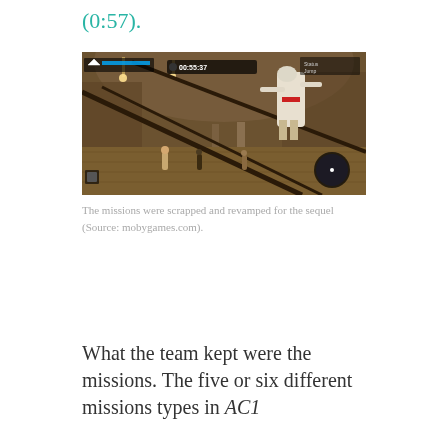(0:57).
[Figure (screenshot): Screenshot from Assassin's Creed video game showing a white-robed assassin character leaping/climbing in an ornate interior building. HUD shows timer 00:55:37, a minimap, and quest indicator. Multiple NPCs visible on lower floor. Game UI overlays visible.]
The missions were scrapped and revamped for the sequel (Source: mobygames.com).
What the team kept were the missions. The five or six different missions types in AC1